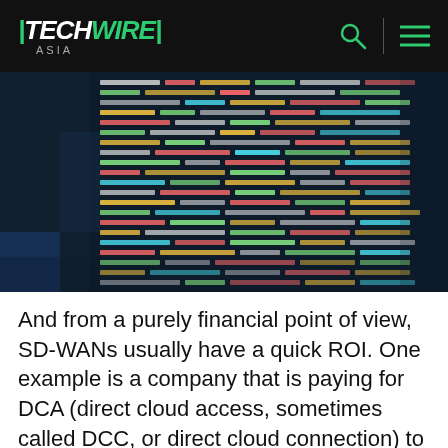TECHWIRE ASIA
[Figure (photo): Close-up photo of a computer monitor displaying multicolored code/programming text on a dark background]
And from a purely financial point of view, SD-WANs usually have a quick ROI. One example is a company that is paying for DCA (direct cloud access, sometimes called DCC, or direct cloud connection) to